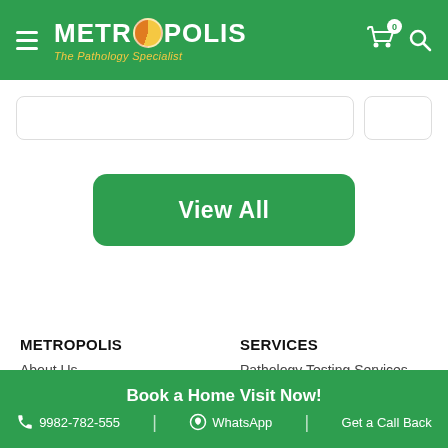METROPOLIS The Pathology Specialist
[Figure (screenshot): Search bar and filter button UI element]
View All
METROPOLIS
About Us
Our Labs
Investors
Partners
SERVICES
Pathology Testing Services
Corporate Wellness
Lab in Hospitals
Clinical Research Services
Book a Home Visit Now! | 9982-782-555 | WhatsApp | Get a Call Back